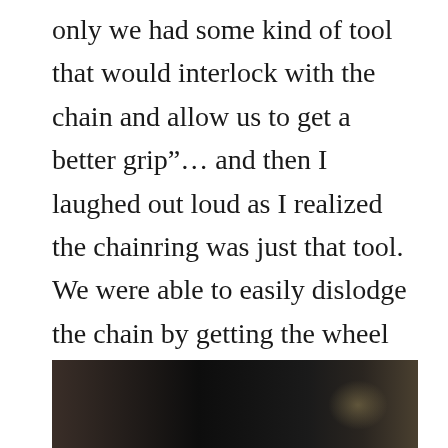only we had some kind of tool that would interlock with the chain and allow us to get a better grip”… and then I laughed out loud as I realized the chainring was just that tool. We were able to easily dislodge the chain by getting the wheel into position, holding it in place, and then mashing down the pedal as hard as we could. Problem solved. We suffer through the climb, arrive at Beaver Pond, and set up camp.
[Figure (photo): A dark outdoor photograph, partially visible at the bottom of the page, showing a dimly lit forest or night scene with some warm light on the right side.]